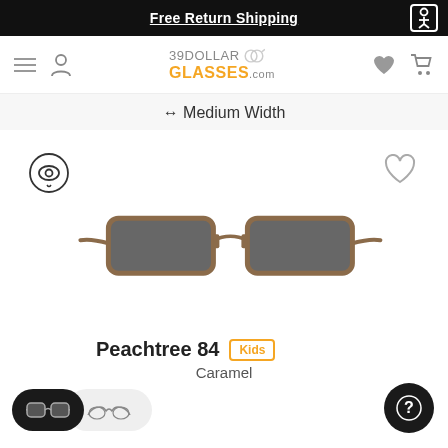Free Return Shipping
[Figure (logo): 39DollarGlasses.com logo with navigation icons (hamburger menu, user icon, heart, cart)]
↔ Medium Width
[Figure (photo): Peachtree 84 sunglasses in Caramel color - rectangular metal frame with dark lenses, product photo on white background]
Peachtree 84
Kids
Caramel